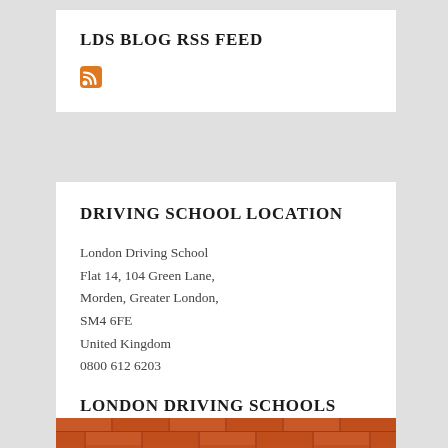LDS BLOG RSS FEED
[Figure (other): RSS feed icon - orange/yellow square with RSS symbol]
DRIVING SCHOOL LOCATION
London Driving School
Flat 14, 104 Green Lane,
Morden, Greater London,
SM4 6FE
United Kingdom
0800 612 6203
LONDON DRIVING SCHOOLS
[Figure (photo): Partial brick wall image at bottom of page]